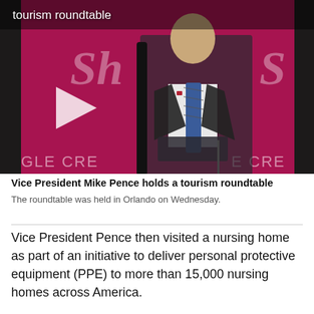[Figure (screenshot): Video thumbnail showing Vice President Mike Pence seated at a roundtable with a pink branded backdrop reading 'SH' and 'EAGLE CREEK'. A white play button is visible on the left side. Text overlay reads 'tourism roundtable'.]
Vice President Mike Pence holds a tourism roundtable
The roundtable was held in Orlando on Wednesday.
Vice President Pence then visited a nursing home as part of an initiative to deliver personal protective equipment (PPE) to more than 15,000 nursing homes across America.
Pence waved at people along the sidewalks as his motorcade headed to the Wyndemere Bobby Road...